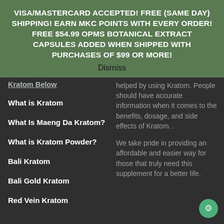VISA/MASTERCARD ACCEPTED! FREE (SAME DAY) SHIPPING! EARN MKC POINTS WITH EVERY ORDER! FREE $54.99 OPMS BOTANICAL EXTRACT CAPSULES ADDED WHEN SHIPPED WITH PURCHASES OF $99 OR MORE!
Dismiss
Kratom Below
What is Kratom
What Is Maeng Da Kratom?
What is Kratom Powder?
Bali Kratom
Bali Gold Kratom
Red Vein Kratom
helped by using Kratom. People should have accurate information when it comes to the benefits, dosage, and side effects of Kratom. .
We take pride in providing an affordable and easier way for those that truly need this supplement for a better life.